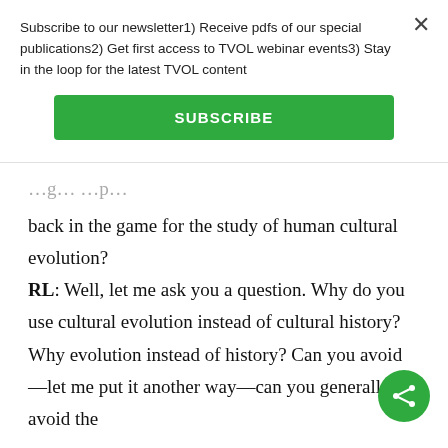Subscribe to our newsletter1) Receive pdfs of our special publications2) Get first access to TVOL webinar events3) Stay in the loop for the latest TVOL content
SUBSCRIBE
back in the game for the study of human cultural evolution?
RL: Well, let me ask you a question. Why do you use cultural evolution instead of cultural history? Why evolution instead of history? Can you avoid—let me put it another way—can you generally avoid the